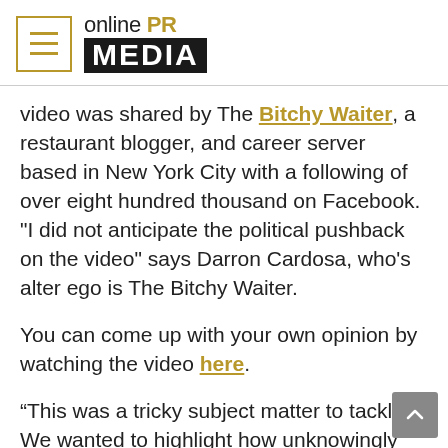online PR MEDIA
video was shared by The Bitchy Waiter, a restaurant blogger, and career server based in New York City with a following of over eight hundred thousand on Facebook. "I did not anticipate the political pushback on the video" says Darron Cardosa, who's alter ego is The Bitchy Waiter.
You can come up with your own opinion by watching the video here.
“This was a tricky subject matter to tackle. We wanted to highlight how unknowingly threatening and ignorant the Kens and Karens of the world may